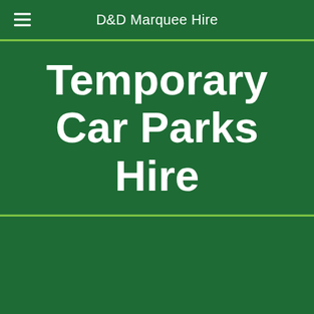D&D Marquee Hire
Temporary Car Parks Hire